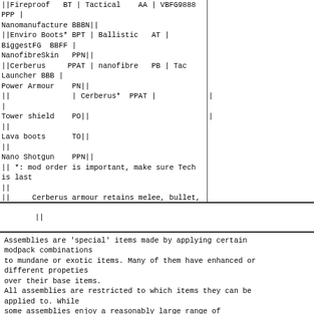| ||Fireproof   BT | Tactical    AA | VBFG9888   PPP | |
| Nanomanufacture BBBN|| |
| ||Enviro Boots* BPT | Ballistic   AT | BiggestFG  BBFF | |
| NanofibreSkin   PPN|| |
| ||Cerberus     PPAT | nanofibre   PB | Tac Launcher BBB | |
| Power Armour    PN|| |
| ||              | Cerberus*  PPAT |               | |
| Tower shield    PO|| |
| ||                                                       | |
| Lava boots      TO|| |
| ||                                                       | |
| Nano Shotgun    PPN|| |
|| *: mod order is important, make sure Tech is last
||
||     Cerberus armour retains melee, bullet, shrapnell resistance, and        ||
||     durability of it's target armour. Probably best on Duelist/ballistic vest||
||     /gothic.
||
||**: Specific target. There is only a single item this assembly can fit on:   ||
||     Gatling gun=chaingun | Hyperblaster=plasma rifle | ElephantGun=Shotgun   ||
||
||
Assemblies are 'special' items made by applying certain modpack combinations
to mundane or exotic items. Many of them have enhanced or different propeties
over their base items.
All assemblies are restricted to which items they can be applied to. While
some assemblies enjoy a reasonably large range of potential targets (highpower
weapon can go on any pistol or rapidfire weapon), others are extremely limited